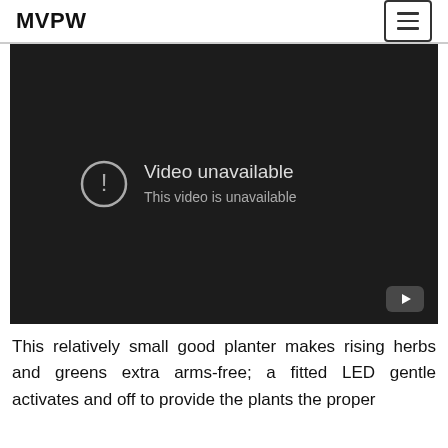MVPW
[Figure (screenshot): Embedded video player showing 'Video unavailable – This video is unavailable' error message with a warning icon and YouTube logo in bottom-right corner. Background is dark/black.]
This relatively small good planter makes rising herbs and greens extra arms-free; a fitted LED gentle activates and off to provide the plants the proper